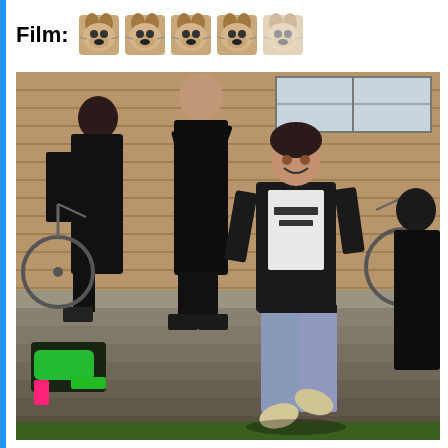Film:
[Figure (illustration): Five small dog/bulldog face emoji-style icons arranged in a row next to the Film: label, representing a rating]
[Figure (photo): A film scene showing people on outdoor steps in front of a brick building. Left side: two figures dressed in black. Center: a young man in a leather jacket over a white graphic t-shirt, jeans, and a beanie hat, appears to be running or dancing. Right edge: another figure. A green bag/backpack is visible on the steps at lower left. Bicycles visible in background.]